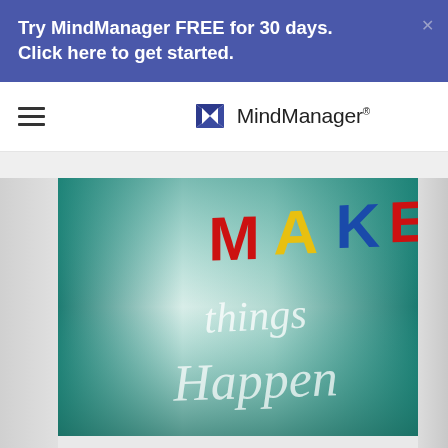Try MindManager FREE for 30 days. Click here to get started.
[Figure (logo): MindManager logo with stylized M icon in dark blue and the text MindManager]
[Figure (photo): Chalkboard photo with colorful 3D letters spelling MAKE on top and chalk-written text 'things Happen' below]